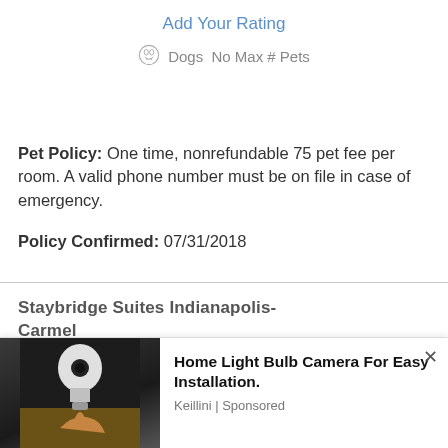Add Your Rating
Dogs  No Max # Pets
Pet Policy: One time, nonrefundable 75 pet fee per room. A valid phone number must be on file in case of emergency.
Policy Confirmed: 07/31/2018
Staybridge Suites Indianapolis-Carmel
10675 N. Pennsylvania Street
Home Light Bulb Camera For Easy Installation.
Keillini | Sponsored